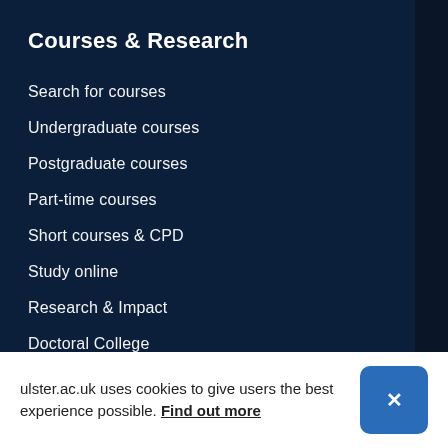Courses & Research
Search for courses
Undergraduate courses
Postgraduate courses
Part-time courses
Short courses & CPD
Study online
Research & Impact
Doctoral College
PURE
ulster.ac.uk uses cookies to give users the best experience possible. Find out more